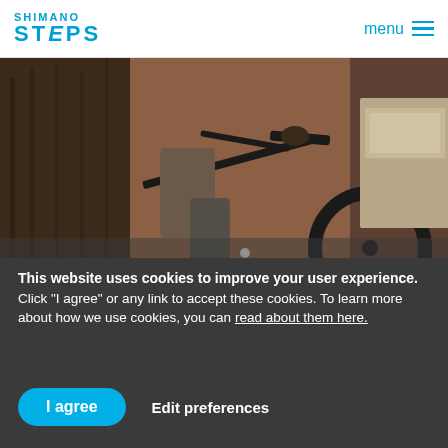SHIMANO STEPS | menu
[Figure (photo): Person riding an electric bicycle in an urban environment, photographed from a low angle showing legs, bike frame, and city background.]
This website uses cookies to improve your user experience.
Click "I agree" or any link to accept these cookies. To learn more about how we use cookies, you can read about them here.
I agree   Edit preferences
Why choose our SHIMANO